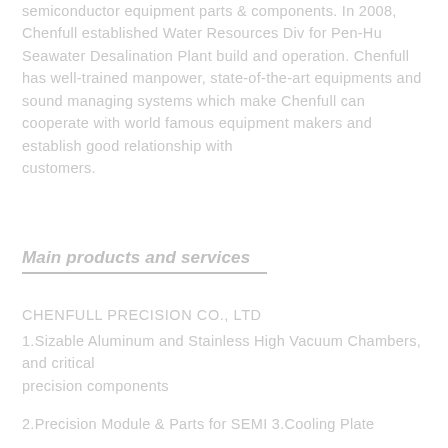semiconductor equipment parts & components. In 2008, Chenfull established Water Resources Div for Pen-Hu Seawater Desalination Plant build and operation. Chenfull has well-trained manpower, state-of-the-art equipments and sound managing systems which make Chenfull can cooperate with world famous equipment makers and establish good relationship with customers.
Main products and services
CHENFULL PRECISION CO., LTD
1.Sizable Aluminum and Stainless High Vacuum Chambers, and critical precision components
2.Precision Module & Parts for SEMI 3.Cooling Plate